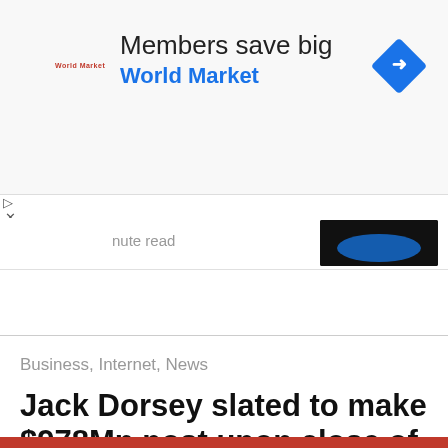[Figure (infographic): Advertisement banner for World Market: 'Members save big / World Market' with small World Market logo text in red on left, blue diamond navigation icon on right]
nute read
[Figure (screenshot): Amazon advertisement dark box with blue oval shape]
Business, Internet, News
Jack Dorsey slated to make $978Mn post upon close of Elon Musk's Twitter acquisition